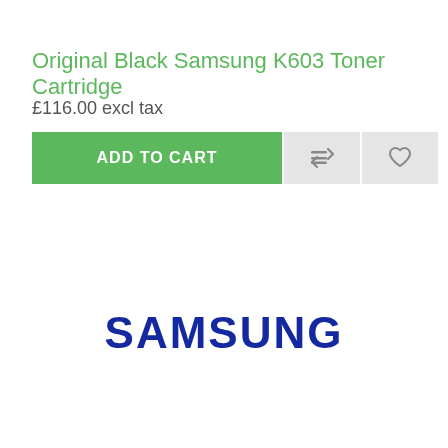Original Black Samsung K603 Toner Cartridge
£116.00 excl tax
[Figure (screenshot): E-commerce product page UI showing an 'ADD TO CART' green button, a reorder icon button, and a heart/wishlist icon button, followed by the Samsung brand logo in dark blue]
[Figure (logo): Samsung logo in dark navy blue bold text]